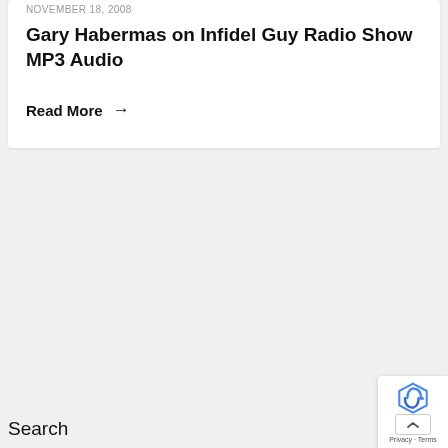November 18, 2008
Gary Habermas on Infidel Guy Radio Show MP3 Audio
Read More →
Search